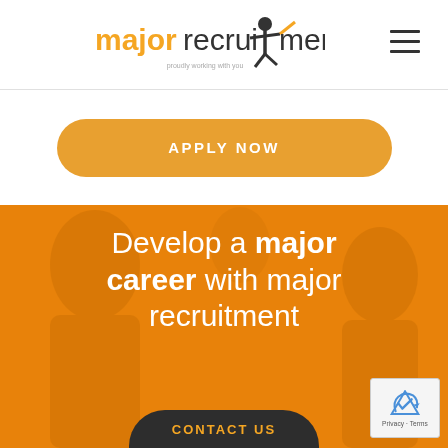[Figure (logo): Major Recruitment logo with orange stylized figure and text 'majorrecruitment - proudly working with you']
[Figure (other): Hamburger menu icon (three horizontal lines) in top right corner]
[Figure (other): Orange rounded button with text 'APPLY NOW']
[Figure (photo): Orange-tinted hero image showing smiling people in office setting with overlay text 'Develop a major career with major recruitment' and a dark Contact Us button at the bottom]